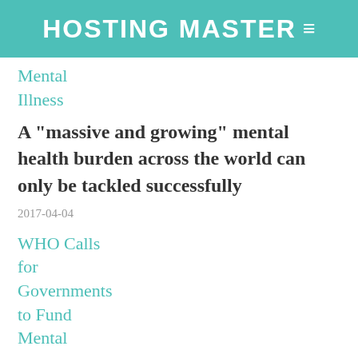HOSTING MASTER≡
Mental Illness
A "massive and growing" mental health burden across the world can only be tackled successfully
2017-04-04
WHO Calls for Governments to Fund Mental